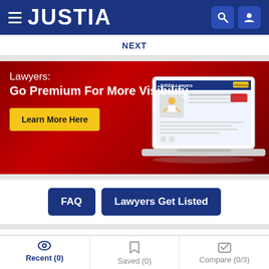JUSTIA
NEXT
[Figure (infographic): Justia premium lawyer advertisement banner with red gradient background, text 'Lawyers: Go Premium For More Visibility', a yellow 'Learn More Here' button, and an illustration of a laptop showing a Justia Lawyers profile page with a cartoon lawyer figure.]
FAQ
Lawyers Get Listed
Recent (0)
Saved (0)
Compare (0/3)